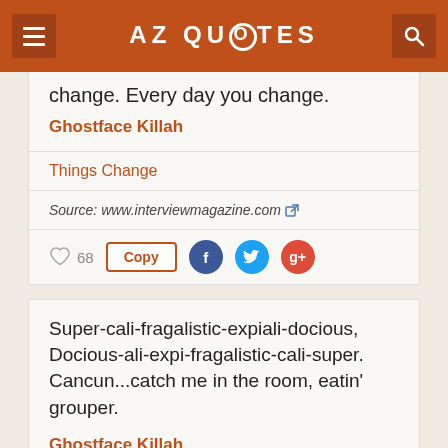AZ QUOTES
change. Every day you change.
Ghostface Killah
Things Change
Source: www.interviewmagazine.com
68  Copy
Super-cali-fragalistic-expiali-docious, Docious-ali-expi-fragalistic-cali-super. Cancun...catch me in the room, eatin' grouper.
Ghostface Killah